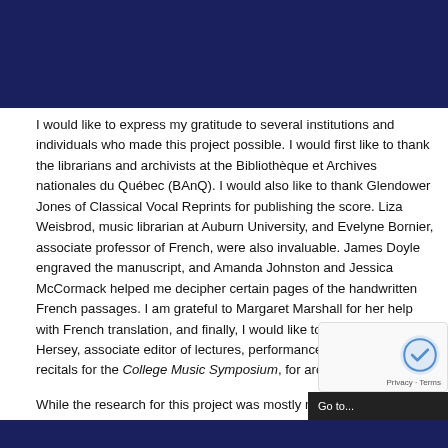[Figure (other): Dark navy blue banner at the top of the page, part of a website header]
I would like to express my gratitude to several institutions and individuals who made this project possible. I would first like to thank the librarians and archivists at the Bibliothèque et Archives nationales du Québec (BAnQ). I would also like to thank Glendower Jones of Classical Vocal Reprints for publishing the score. Liza Weisbrod, music librarian at Auburn University, and Evelyne Bornier, associate professor of French, were also invaluable. James Doyle engraved the manuscript, and Amanda Johnston and Jessica McCormack helped me decipher certain pages of the handwritten French passages. I am grateful to Margaret Marshall for her help with French translation, and finally, I would like to thank Anna Hersey, associate editor of lectures, performances, and lecture-recitals for the College Music Symposium, for archiving this work.
While the research for this project was mostly my own, I am indebted to these three resources, which proved to be invaluable during the course of my research.
[Figure (other): Dark navy blue banner at the bottom of the page, part of a website footer]